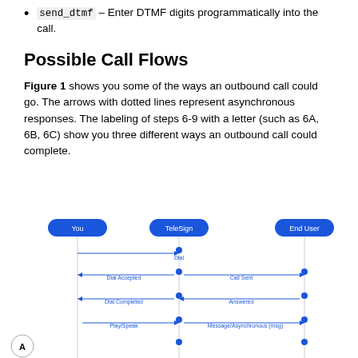send_dtmf – Enter DTMF digits programmatically into the call.
Possible Call Flows
Figure 1 shows you some of the ways an outbound call could go. The arrows with dotted lines represent asynchronous responses. The labeling of steps 6-9 with a letter (such as 6A, 6B, 6C) show you three different ways an outbound call could complete.
[Figure (flowchart): Sequence diagram showing outbound call flows between You, TeleSign, and End User actors. Shows steps including Dial, Dial Accepted, Dial Completed, Answered, Play/Speak, Message/Asynchronous responses, with arrows indicating message direction. Label 'A' visible at bottom left indicating first call flow variant.]